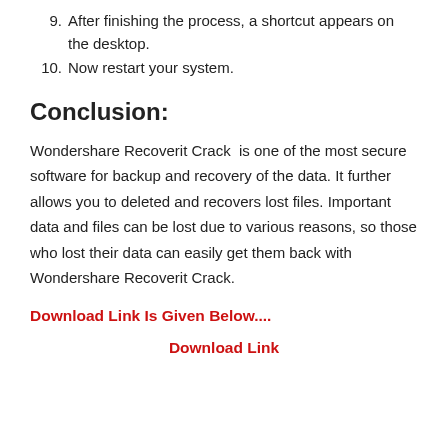9. After finishing the process, a shortcut appears on the desktop.
10. Now restart your system.
Conclusion:
Wondershare Recoverit Crack  is one of the most secure software for backup and recovery of the data. It further allows you to deleted and recovers lost files. Important data and files can be lost due to various reasons, so those who lost their data can easily get them back with Wondershare Recoverit Crack.
Download Link Is Given Below....
Download Link